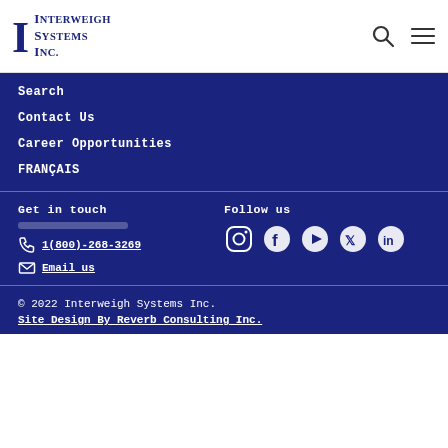[Figure (logo): Interweigh Systems Inc. logo with large stylized I and company name]
Search
Contact Us
Career Opportunities
FRANÇAIS
Get in touch
1(800)-268-3269
Email us
Follow us
[Figure (infographic): Social media icons: Instagram, Facebook, YouTube, Twitter, LinkedIn]
© 2022 Interweigh Systems Inc.
Site Design By Reverb Consulting Inc.